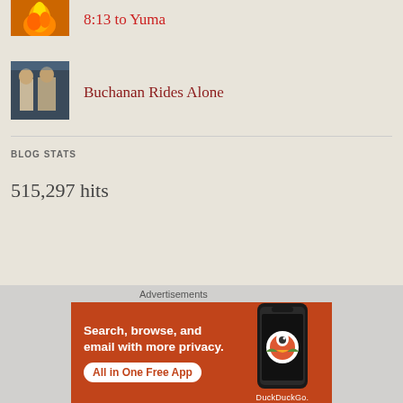8:13 to Yuma
[Figure (photo): Small thumbnail of movie scene for Buchanan Rides Alone]
Buchanan Rides Alone
BLOG STATS
515,297 hits
Advertisements
[Figure (photo): DuckDuckGo advertisement banner: Search, browse, and email with more privacy. All in One Free App. Shows a phone with DuckDuckGo logo.]